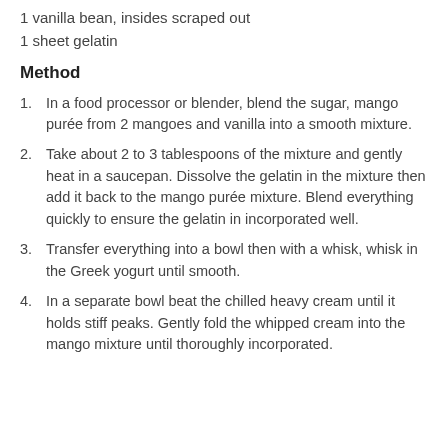1 vanilla bean, insides scraped out
1 sheet gelatin
Method
1. In a food processor or blender, blend the sugar, mango purée from 2 mangoes and vanilla into a smooth mixture.
2. Take about 2 to 3 tablespoons of the mixture and gently heat in a saucepan. Dissolve the gelatin in the mixture then add it back to the mango purée mixture. Blend everything quickly to ensure the gelatin in incorporated well.
3. Transfer everything into a bowl then with a whisk, whisk in the Greek yogurt until smooth.
4. In a separate bowl beat the chilled heavy cream until it holds stiff peaks. Gently fold the whipped cream into the mango mixture until thoroughly incorporated.